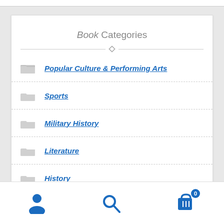Book Categories
Popular Culture & Performing Arts
Sports
Military History
Literature
History
Navigation bar with user, search, and cart icons